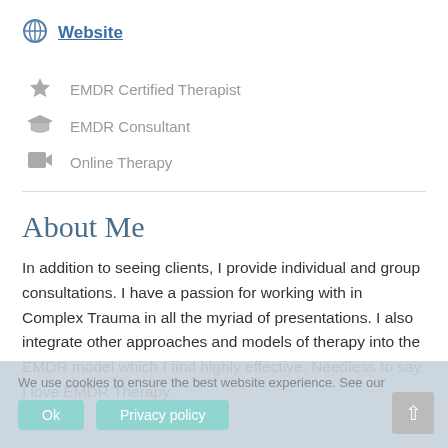Website
EMDR Certified Therapist
EMDR Consultant
Online Therapy
About Me
In addition to seeing clients, I provide individual and group consultations. I have a passion for working with in Complex Trauma in all the myriad of presentations. I also integrate other approaches and models of therapy into the EMDR model which I find highly effective. Needless to say, I love EMDR Therapy.
We use cookies to ensure the best website experience. See our
Ok
Privacy policy